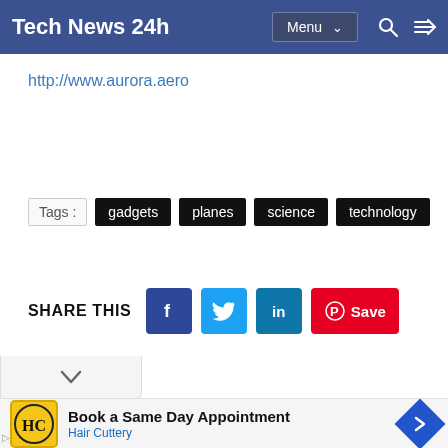Tech News 24h
http://www.aurora.aero
Tags : gadgets planes science technology
SHARE THIS
[Figure (screenshot): Ad banner: Book a Same Day Appointment - Hair Cuttery]